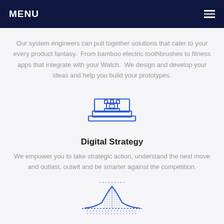MENU
Our system engineers can pull together solutions that cater to your every product fantasy.  From bamboo electric toothbrushes to fitness apps that integrate with your Watch.  We design and develop your ideas and help you build your prototypes.
[Figure (illustration): Blue line-art icon of a chess rook piece sitting on an open laptop]
Digital Strategy
We empower you to take strategic action, understand the next move and outlast, outwit and be smarter against the competition.
[Figure (illustration): Blue line-art icon of a bell curve / Gaussian distribution chart with dotted baseline]